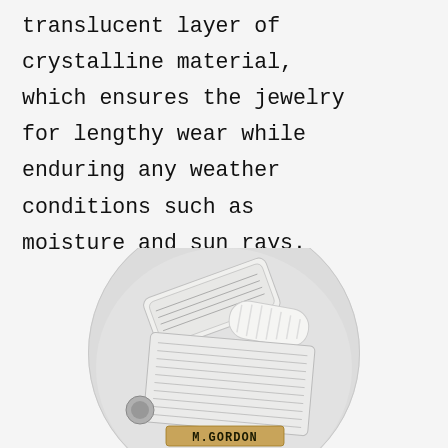translucent layer of crystalline material, which ensures the jewelry for lengthy wear while enduring any weather conditions such as moisture and sun rays.
[Figure (photo): A circular photo showing small silica gel desiccant packets on a light gray round surface with a small magnet visible at the bottom-left edge. A brown label reading 'M. GORDON' is visible at the bottom of the circle.]